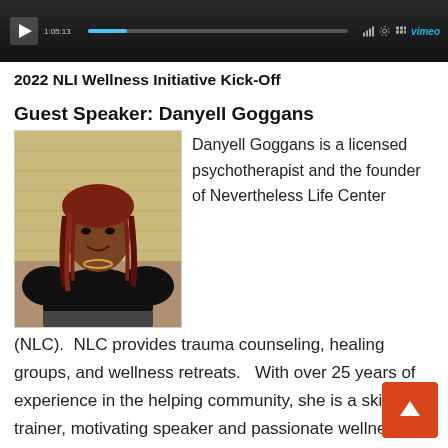[Figure (screenshot): Video player thumbnail showing a dark scene with a play button, progress bar, timer showing 1:05:13, signal bars, settings icon, grid icon, and Vimeo logo]
2022 NLI Wellness Initiative Kick-Off
Guest Speaker: Danyell Goggans
[Figure (photo): Portrait photo of Danyell Goggans, a woman with red braided hair wearing a black top, smiling, standing in front of a brick wall]
Danyell Goggans is a licensed psychotherapist and the founder of Nevertheless Life Center (NLC).  NLC provides trauma counseling, healing groups, and wellness retreats.   With over 25 years of experience in the helping community, she is a skilled trainer, motivating speaker and passionate wellness advocate.  It is her hope that